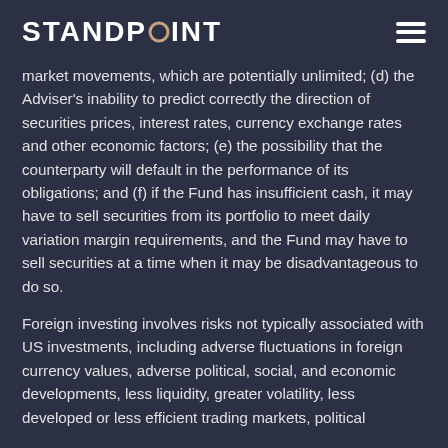STANDPOINT
market movements, which are potentially unlimited; (d) the Adviser's inability to predict correctly the direction of securities prices, interest rates, currency exchange rates and other economic factors; (e) the possibility that the counterparty will default in the performance of its obligations; and (f) if the Fund has insufficient cash, it may have to sell securities from its portfolio to meet daily variation margin requirements, and the Fund may have to sell securities at a time when it may be disadvantageous to do so.
Foreign investing involves risks not typically associated with US investments, including adverse fluctuations in foreign currency values, adverse political, social, and economic developments, less liquidity, greater volatility, less developed or less efficient trading markets, political